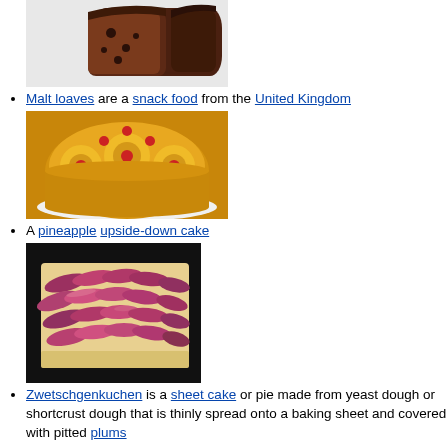Malt loaves are a snack food from the United Kingdom
[Figure (photo): Photo of malt loaves - dark brown bread loaves, one sliced]
A pineapple upside-down cake
[Figure (photo): Photo of a pineapple upside-down cake with red cherries on top, on a white plate]
Zwetschgenkuchen is a sheet cake or pie made from yeast dough or shortcrust dough that is thinly spread onto a baking sheet and covered with pitted plums
[Figure (photo): Photo of Zwetschgenkuchen - a flat sheet cake covered with sliced plums, on a black background]